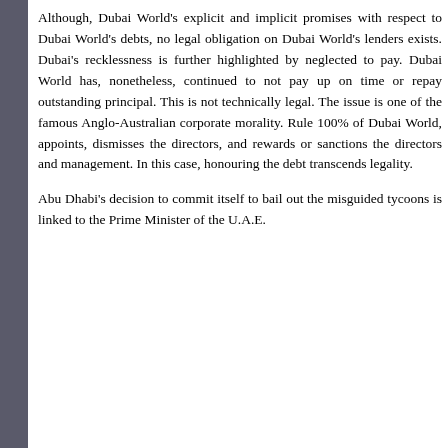Although, Dubai World's explicit and implicit promises with respect to Dubai World's debts, no legal obligation on Dubai World's lenders exists. Dubai's recklessness is further highlighted by neglected to pay. Dubai World has, nonetheless, continued to not pay up on time or repay outstanding principal. This is not technically legal. The issue is one of the famous Anglo-Australian corporate morality. Rule 100% of Dubai World, appoints, dismisses the directors, and rewards or sanctions the directors and management. In this case, honouring the debt transcends legality.
Abu Dhabi's decision to commit itself to bail out the misguided tycoons is linked to the Prime Minister of the U.A.E.